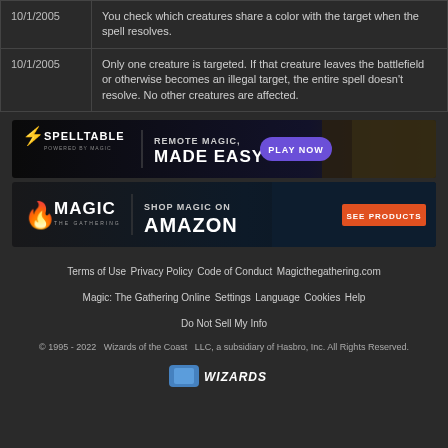| Date | Ruling |
| --- | --- |
| 10/1/2005 | You check which creatures share a color with the target when the spell resolves. |
| 10/1/2005 | Only one creature is targeted. If that creature leaves the battlefield or otherwise becomes an illegal target, the entire spell doesn't resolve. No other creatures are affected. |
[Figure (infographic): SpellTable banner: REMOTE MAGIC, MADE EASY with PLAY NOW button]
[Figure (infographic): Magic: The Gathering SHOP MAGIC ON AMAZON banner with SEE PRODUCTS button]
Terms of Use   Privacy Policy   Code of Conduct   Magicthegathering.com
Magic: The Gathering Online   Settings   Language   Cookies   Help
Do Not Sell My Info
© 1995 - 2022   Wizards of the Coast   LLC, a subsidiary of Hasbro, Inc. All Rights Reserved.
[Figure (logo): Wizards of the Coast logo at bottom]